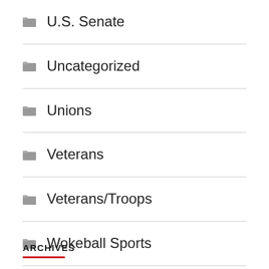U.S. Senate
Uncategorized
Unions
Veterans
Veterans/Troops
Wokeball Sports
ARCHIVES